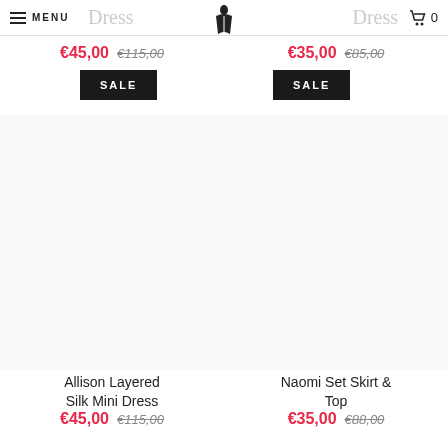MENU | Dress [logo] Dress | 🛒 0
Dress
€45,00 €115,00
SALE
Dress
€35,00 €85,00
SALE
Allison Layered Silk Mini Dress
€45,00 €115,00
Naomi Set Skirt & Top
€35,00 €88,00